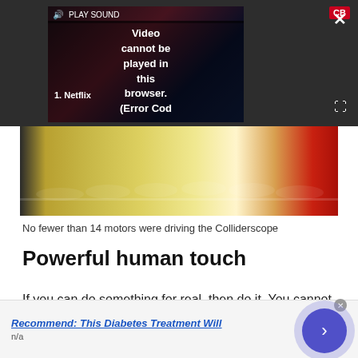[Figure (screenshot): Video player thumbnail showing a partially visible video with a 'Video cannot be played in this browser. (Error Cod' overlay message, PLAY SOUND bar at top, CB badge, close X button, expand icon, and '1. Netflix' label.]
[Figure (photo): A row of colorful high-heel shoes displayed on shelves, ranging from yellow-green to orange-red.]
No fewer than 14 motors were driving the Colliderscope
Powerful human touch
If you can do something for real, then do it. You cannot replicate that human touch. There are tiny errors in the final piece that you don't know are there, but they create this overall effect of something more
Recommend: This Diabetes Treatment Will
n/a